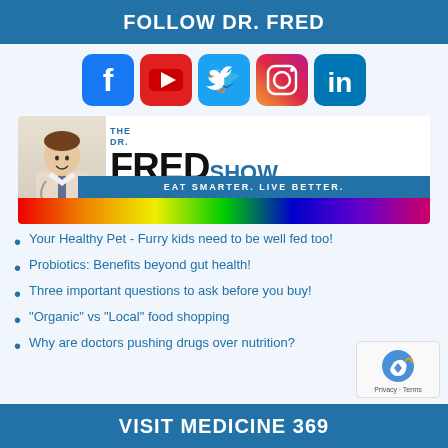FOLLOW DR. FRED
[Figure (infographic): Social media icons: Facebook, YouTube, Twitter, Instagram, LinkedIn]
[Figure (infographic): The Dr. Fred Show banner with doctor photo and tagline EAT SMARTER. LIVE BETTER.]
Your Healthy Pet - Furry kids need to be well fed too!
Probiotics: Benefits beyond gut health!
Three important questions to ask before you buy!
"Organic" vs "Local" food shopping
Why are doctors pushing drugs over nutrition?
VISIT MEDICINE 369